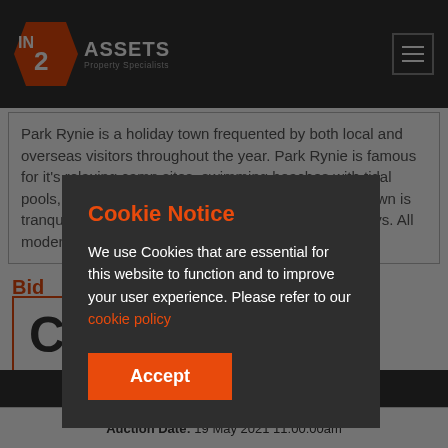[Figure (logo): IN 2 ASSETS Property Specialists logo with orange diamond shape]
Park Rynie is a holiday town frequented by both local and overseas visitors throughout the year. Park Rynie is famous for it's relaxing camp sites, swimming beaches with tidal pools, fishing spots and the yearly sardine run. The town is tranquil and unique, offering excellent holiday getaways. All modern-day amenities can be found within
Bid
C
Cookie Notice
We use Cookies that are essential for this website to function and to improve your user experience. Please refer to our cookie policy
Accept
Auction Date: 19 May 2021 11:00:00am